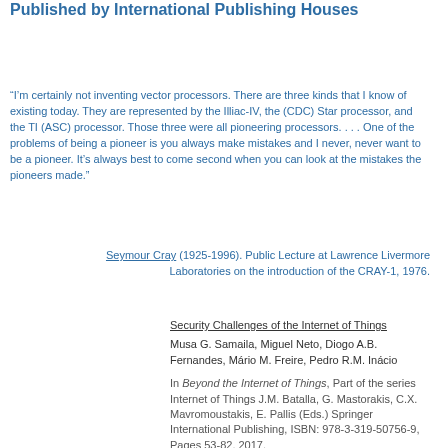Published by International Publishing Houses
“I’m certainly not inventing vector processors. There are three kinds that I know of existing today. They are represented by the Illiac-IV, the (CDC) Star processor, and the TI (ASC) processor. Those three were all pioneering processors. . . . One of the problems of being a pioneer is you always make mistakes and I never, never want to be a pioneer. It’s always best to come second when you can look at the mistakes the pioneers made.”
Seymour Cray (1925-1996). Public Lecture at Lawrence Livermore Laboratories on the introduction of the CRAY-1, 1976.
Security Challenges of the Internet of Things
Musa G. Samaila, Miguel Neto, Diogo A.B. Fernandes, Mário M. Freire, Pedro R.M. Inácio
In Beyond the Internet of Things, Part of the series Internet of Things J.M. Batalla, G. Mastorakis, C.X. Mavromoustakis, E. Pallis (Eds.) Springer International Publishing, ISBN: 978-3-319-50756-9, Pages 53-82, 2017.